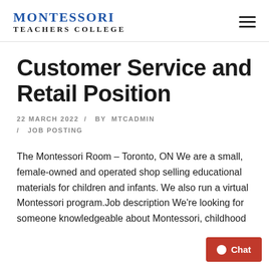MONTESSORI TEACHERS COLLEGE
Customer Service and Retail Position
22 MARCH 2022 / BY MTCADMIN / JOB POSTING
The Montessori Room – Toronto, ON We are a small, female-owned and operated shop selling educational materials for children and infants. We also run a virtual Montessori program.Job description We're looking for someone knowledgeable about Montessori, childhood